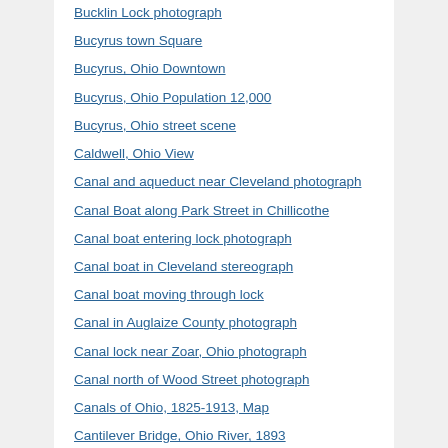Bucklin Lock photograph
Bucyrus town Square
Bucyrus, Ohio Downtown
Bucyrus, Ohio Population 12,000
Bucyrus, Ohio street scene
Caldwell, Ohio View
Canal and aqueduct near Cleveland photograph
Canal Boat along Park Street in Chillicothe
Canal boat entering lock photograph
Canal boat in Cleveland stereograph
Canal boat moving through lock
Canal in Auglaize County photograph
Canal lock near Zoar, Ohio photograph
Canal north of Wood Street photograph
Canals of Ohio, 1825-1913, Map
Cantilever Bridge, Ohio River, 1893